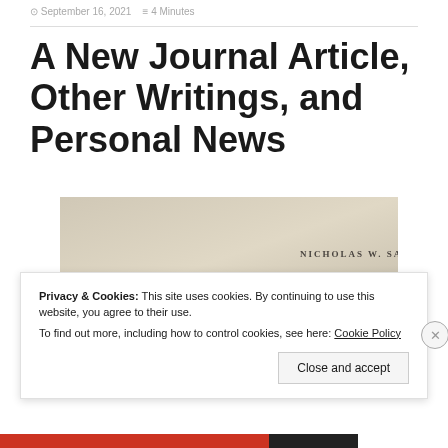September 16, 2021   4 Minutes
A New Journal Article, Other Writings, and Personal News
[Figure (photo): Photo of a book cover or spine showing the name NICHOLAS W. SACCO in small caps lettering on a cream/beige background]
Privacy & Cookies: This site uses cookies. By continuing to use this website, you agree to their use.
To find out more, including how to control cookies, see here: Cookie Policy
Close and accept